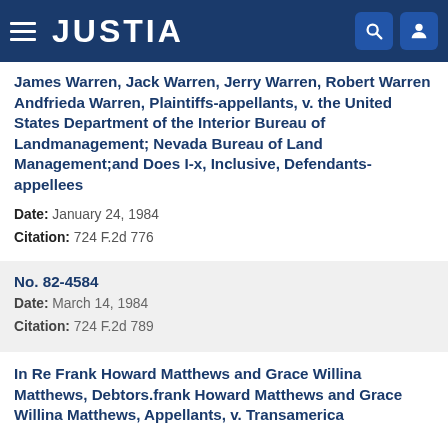JUSTIA
James Warren, Jack Warren, Jerry Warren, Robert Warren Andfrieda Warren, Plaintiffs-appellants, v. the United States Department of the Interior Bureau of Landmanagement; Nevada Bureau of Land Management;and Does I-x, Inclusive, Defendants-appellees
Date: January 24, 1984
Citation: 724 F.2d 776
No. 82-4584
Date: March 14, 1984
Citation: 724 F.2d 789
In Re Frank Howard Matthews and Grace Willina Matthews, Debtors.frank Howard Matthews and Grace Willina Matthews, Appellants, v. Transamerica